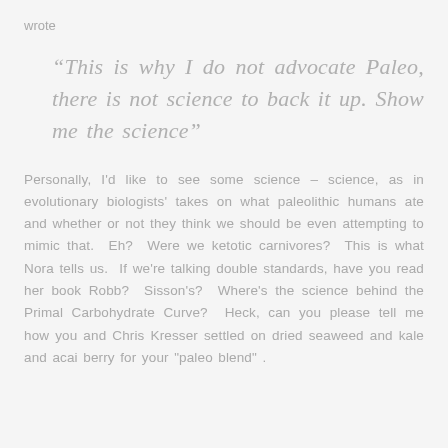wrote
“This is why I do not advocate Paleo, there is not science to back it up. Show me the science”
Personally, I'd like to see some science – science, as in evolutionary biologists' takes on what paleolithic humans ate and whether or not they think we should be even attempting to mimic that.  Eh?  Were we ketotic carnivores?  This is what Nora tells us.  If we're talking double standards, have you read her book Robb?  Sisson's?  Where's the science behind the Primal Carbohydrate Curve?  Heck, can you please tell me how you and Chris Kresser settled on dried seaweed and kale and acai berry for your "paleo blend" .